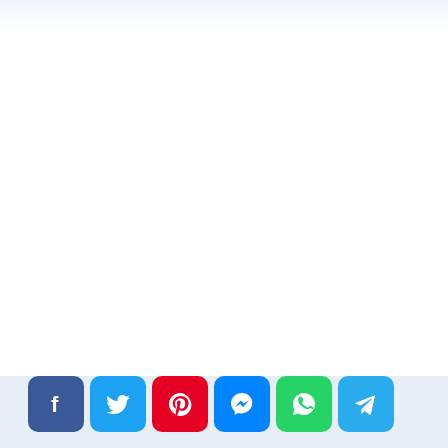[Figure (screenshot): Social media share buttons row: Facebook (dark blue), Twitter (light blue), Pinterest (red), Messenger (blue), WhatsApp (green), Telegram (light blue). Buttons are rounded square icons at the bottom of a mostly white page with a light blue-gray background bar.]